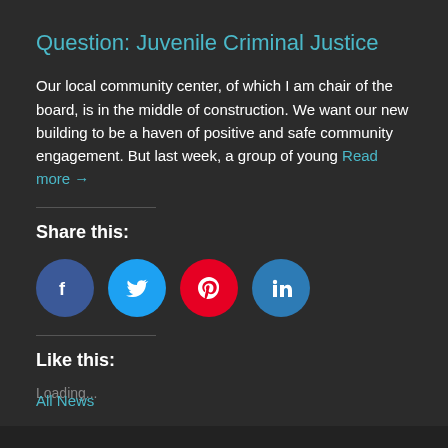Question: Juvenile Criminal Justice
Our local community center, of which I am chair of the board, is in the middle of construction. We want our new building to be a haven of positive and safe community engagement. But last week, a group of young Read more →
Share this:
[Figure (other): Social media share buttons: Facebook, Twitter, Pinterest, LinkedIn]
Like this:
Loading...
All News